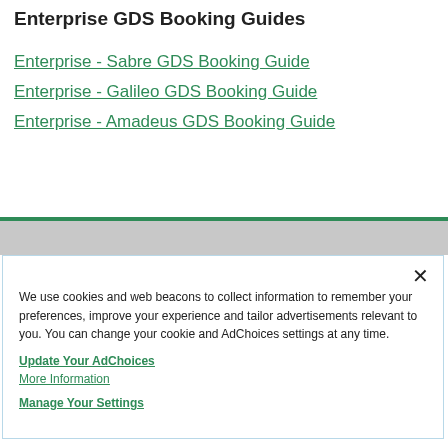Enterprise GDS Booking Guides
Enterprise - Sabre GDS Booking Guide
Enterprise - Galileo GDS Booking Guide
Enterprise - Amadeus GDS Booking Guide
We use cookies and web beacons to collect information to remember your preferences, improve your experience and tailor advertisements relevant to you. You can change your cookie and AdChoices settings at any time.
Update Your AdChoices
More Information
Manage Your Settings